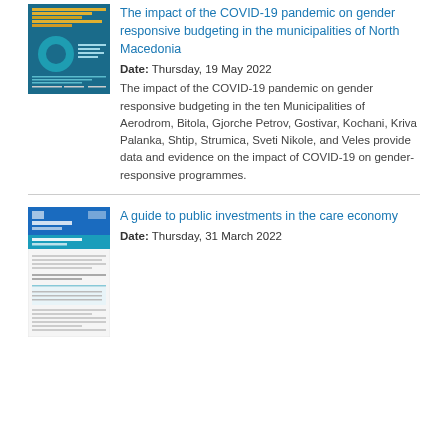[Figure (screenshot): Thumbnail of COVID-19 gender responsive budgeting report cover with infographic]
The impact of the COVID-19 pandemic on gender responsive budgeting in the municipalities of North Macedonia
Date: Thursday, 19 May 2022
The impact of the COVID-19 pandemic on gender responsive budgeting in the ten Municipalities of Aerodrom, Bitola, Gjorche Petrov, Gostivar, Kochani, Kriva Palanka, Shtip, Strumica, Sveti Nikole, and Veles provide data and evidence on the impact of COVID-19 on gender-responsive programmes.
[Figure (screenshot): Thumbnail of A guide to public investments in the care economy policy note cover]
A guide to public investments in the care economy
Date: Thursday, 31 March 2022